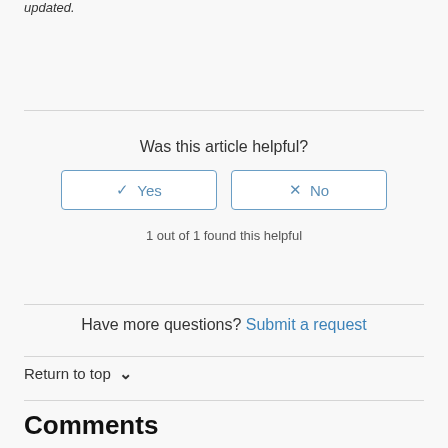updated.
Was this article helpful?
✓ Yes
✗ No
1 out of 1 found this helpful
Have more questions? Submit a request
Return to top ∨
Comments